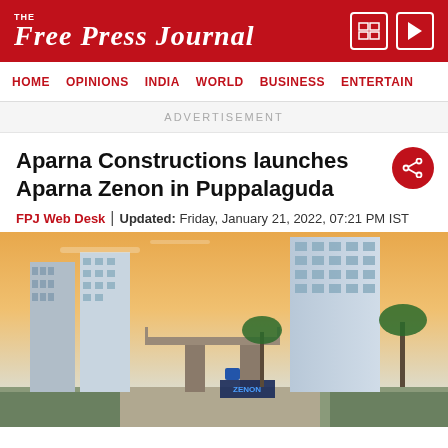THE FREE PRESS JOURNAL
HOME | OPINIONS | INDIA | WORLD | BUSINESS | ENTERTAIN
ADVERTISEMENT
Aparna Constructions launches Aparna Zenon in Puppalaguda
FPJ Web Desk | Updated: Friday, January 21, 2022, 07:21 PM IST
[Figure (photo): Architectural rendering of Aparna Zenon residential towers in Puppalaguda, showing high-rise apartment buildings with a gated entrance marked ZENON, palm trees, and a warm sunset sky.]